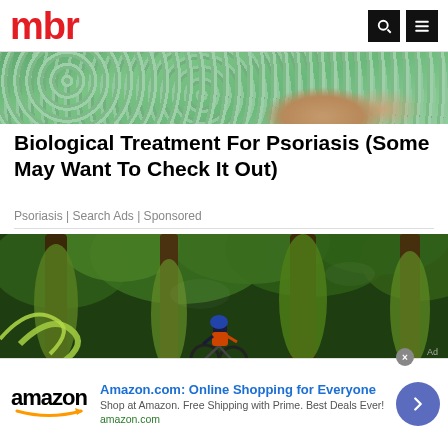mbr
[Figure (photo): Close-up of a person wearing a green floral dress, showing skin (elbow area) — psoriasis advertisement image]
Biological Treatment For Psoriasis (Some May Want To Check It Out)
Psoriasis | Search Ads | Sponsored
[Figure (photo): A mountain bike rider in dark clothing and blue helmet with orange jacket riding through a mossy green forest with large moss-covered trees]
Amazon.com: Online Shopping for Everyone
Shop at Amazon. Free Shipping with Prime. Best Deals Ever!
amazon.com